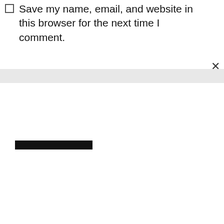Save my name, email, and website in this browser for the next time I comment.